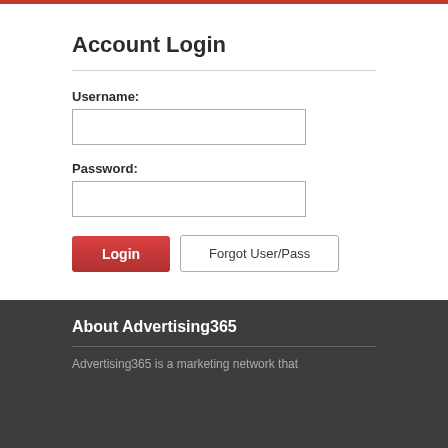Account Login
Username:
Password:
Login
Forgot User/Pass
About Advertising365
Advertising365 is a marketing network that